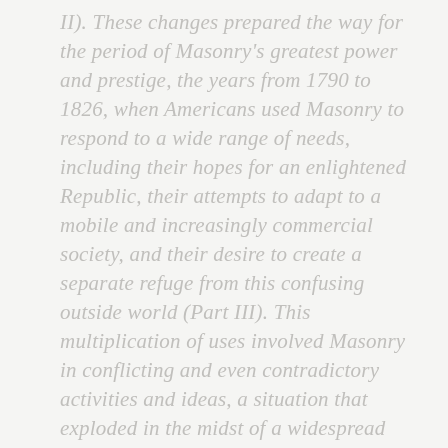II). These changes prepared the way for the period of Masonry's greatest power and prestige, the years from 1790 to 1826, when Americans used Masonry to respond to a wide range of needs, including their hopes for an enlightened Republic, their attempts to adapt to a mobile and increasingly commercial society, and their desire to create a separate refuge from this confusing outside world (Part III). This multiplication of uses involved Masonry in conflicting and even contradictory activities and ideas, a situation that exploded in the midst of a widespread attempt to reform and purify American society based on the principles of democracy and